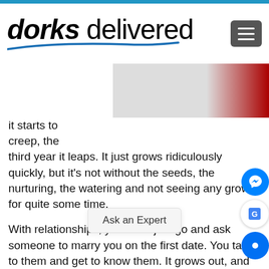[Figure (logo): Dorks Delivered logo with italic bold 'dorks' and regular 'delivered' text, with a blue swoosh underline]
[Figure (photo): Partial hero image showing blurred objects with dark red/maroon element on the right]
it starts to creep, the third year it leaps. It just grows ridiculously quickly, but it's not without the seeds, the nurturing, the watering and not seeing any growth for quite some time.
With relationships, you don't just go and ask someone to marry you on the first date. You talk to them and get to know them. It grows out, and that's the same with clients, your business, your staff.
Marty: I've just upgraded and rolled out a fairly substantial SharePoint set up, an infrastructure for myself as an operating system. I wouldn't call what I do project manager project management elements my clients, the relationship that I have with them, the information